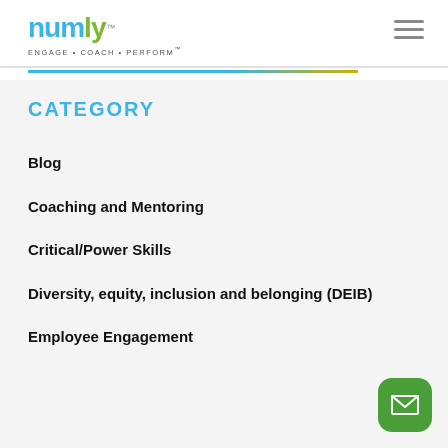numly™ ENGAGE · COACH · PERFORM™
CATEGORY
Blog
Coaching and Mentoring
Critical/Power Skills
Diversity, equity, inclusion and belonging (DEIB)
Employee Engagement